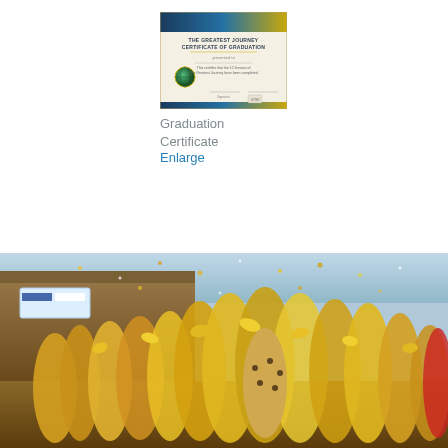[Figure (photo): A graduation certificate titled 'The Greatest Journey Certificate of Graduation' with a blue and gold decorative border, globe emblem, and signature lines.]
Graduation Certificate
Enlarge
[Figure (photo): Children celebrating in yellow graduation caps and gowns, throwing items in the air with confetti, in front of a brick building with a banner.]